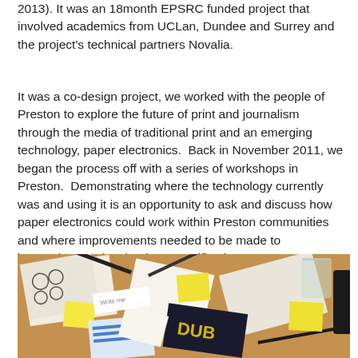2013). It was an 18month EPSRC funded project that involved academics from UCLan, Dundee and Surrey and the project's technical partners Novalia.
It was a co-design project, we worked with the people of Preston to explore the future of print and journalism through the media of traditional print and an emerging technology, paper electronics.  Back in November 2011, we began the process off with a series of workshops in Preston.  Demonstrating where the technology currently was and using it is an opportunity to ask and discuss how paper electronics could work within Preston communities and where improvements needed to be made to interactions and technology specification.
[Figure (photo): A workshop table covered with papers, notebooks, sticky notes (yellow), pens, and printed materials including something with 'DUB' visible. The scene depicts a co-design workshop session.]